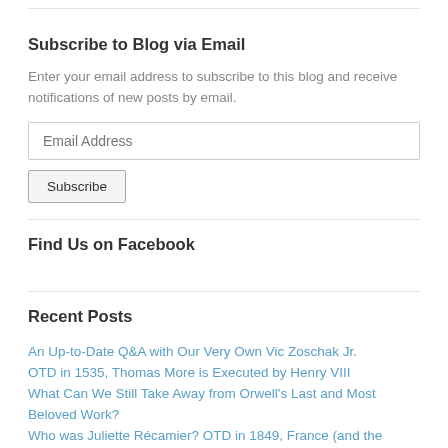Subscribe to Blog via Email
Enter your email address to subscribe to this blog and receive notifications of new posts by email.
Find Us on Facebook
Recent Posts
An Up-to-Date Q&A with Our Very Own Vic Zoschak Jr.
OTD in 1535, Thomas More is Executed by Henry VIII
What Can We Still Take Away from Orwell's Last and Most Beloved Work?
Who was Juliette Récamier? OTD in 1849, France (and the World) Lost a Celebrity